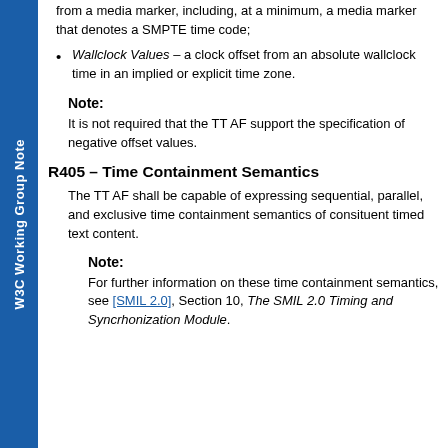from a media marker, including, at a minimum, a media marker that denotes a SMPTE time code;
Wallclock Values – a clock offset from an absolute wallclock time in an implied or explicit time zone.
Note:
It is not required that the TT AF support the specification of negative offset values.
R405 – Time Containment Semantics
The TT AF shall be capable of expressing sequential, parallel, and exclusive time containment semantics of consituent timed text content.
Note:
For further information on these time containment semantics, see [SMIL 2.0], Section 10, The SMIL 2.0 Timing and Syncrhonization Module.